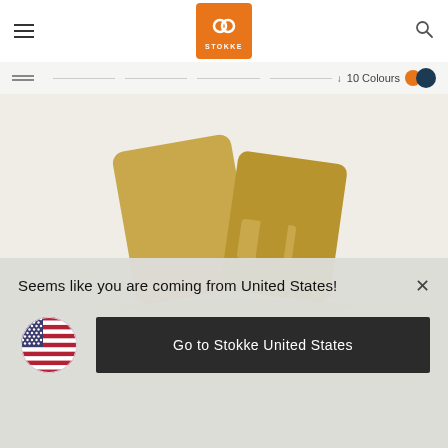[Figure (logo): Stokke logo — orange rounded square with white circular icon and STOKKE text below]
[Figure (illustration): Navigation breadcrumb tabs with 10 colour swatches (orange and dark blue dots)]
[Figure (photo): Close-up product photo of tan/golden Stokke chair components on light beige background]
Seems like you are coming from United States!
Go to Stokke United States